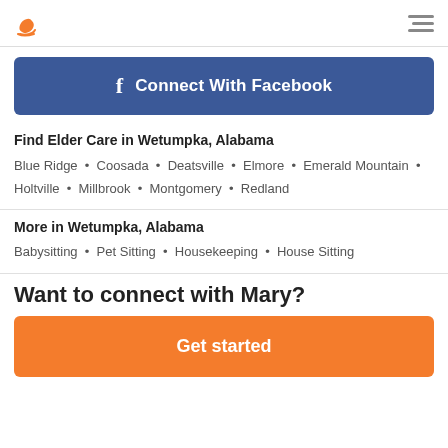[Logo: rocking chair icon] [Hamburger menu icon]
[Figure (other): Connect With Facebook button - blue rounded rectangle with Facebook 'f' logo and white bold text]
Find Elder Care in Wetumpka, Alabama
Blue Ridge • Coosada • Deatsville • Elmore • Emerald Mountain • Holtville • Millbrook • Montgomery • Redland
More in Wetumpka, Alabama
Babysitting • Pet Sitting • Housekeeping • House Sitting
Want to connect with Mary?
[Figure (other): Get started button - orange rounded rectangle with white bold text]